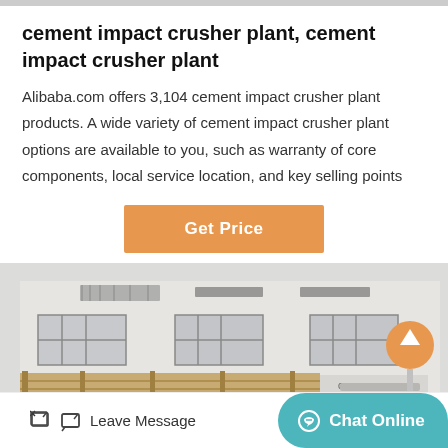cement impact crusher plant, cement impact crusher plant
Alibaba.com offers 3,104 cement impact crusher plant products. A wide variety of cement impact crusher plant options are available to you, such as warranty of core components, local service location, and key selling points
[Figure (other): Orange 'Get Price' button]
[Figure (photo): Photo of a factory building with multiple windows and a covered structure in the foreground, with an orange scroll-to-top button overlay]
Leave Message   Chat Online